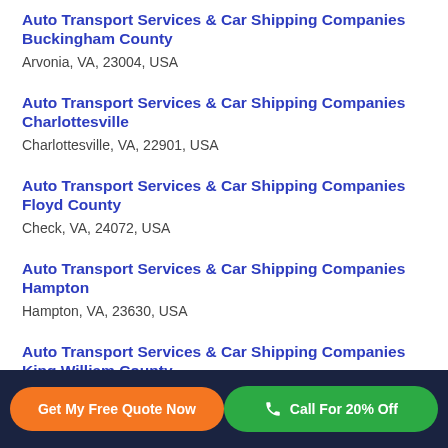Auto Transport Services & Car Shipping Companies Buckingham County
Arvonia, VA, 23004, USA
Auto Transport Services & Car Shipping Companies Charlottesville
Charlottesville, VA, 22901, USA
Auto Transport Services & Car Shipping Companies Floyd County
Check, VA, 24072, USA
Auto Transport Services & Car Shipping Companies Hampton
Hampton, VA, 23630, USA
Auto Transport Services & Car Shipping Companies King William County
Aylett, VA, 23009, USA
Get My Free Quote Now   Call For 20% Off